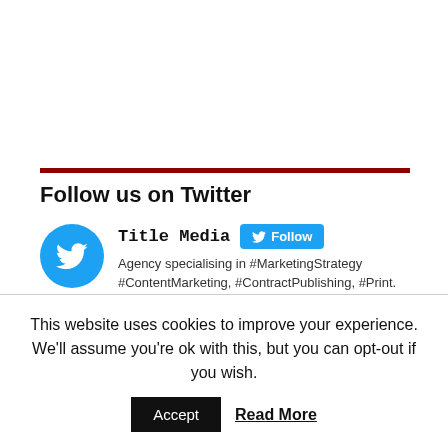Follow us on Twitter
[Figure (other): Twitter profile card for Title Media showing avatar, name, Follow button, and bio text: Agency specialising in #MarketingStrategy #ContentMarketing, #ContractPublishing, #Print. Home of Silver Magazine & Title Sussex Magazine]
This website uses cookies to improve your experience. We'll assume you're ok with this, but you can opt-out if you wish.
Accept  Read More